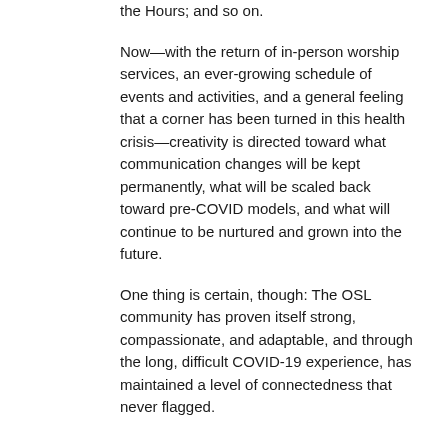the Hours; and so on.
Now—with the return of in-person worship services, an ever-growing schedule of events and activities, and a general feeling that a corner has been turned in this health crisis—creativity is directed toward what communication changes will be kept permanently, what will be scaled back toward pre-COVID models, and what will continue to be nurtured and grown into the future.
One thing is certain, though: The OSL community has proven itself strong, compassionate, and adaptable, and through the long, difficult COVID-19 experience, has maintained a level of connectedness that never flagged.